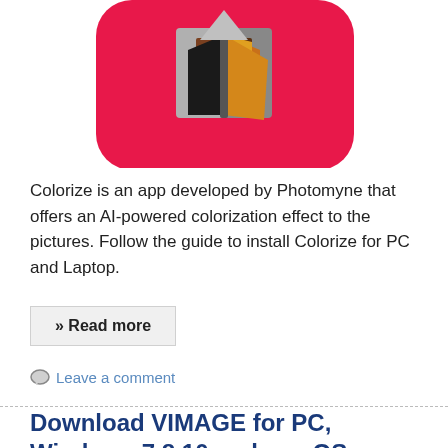[Figure (screenshot): App icon for Colorize by Photomyne on a red background, showing a stylized book with colorful pages]
Colorize is an app developed by Photomyne that offers an AI-powered colorization effect to the pictures. Follow the guide to install Colorize for PC and Laptop.
» Read more
Leave a comment
Download VIMAGE for PC, Windows 7,8,10 and macOS
Saqib